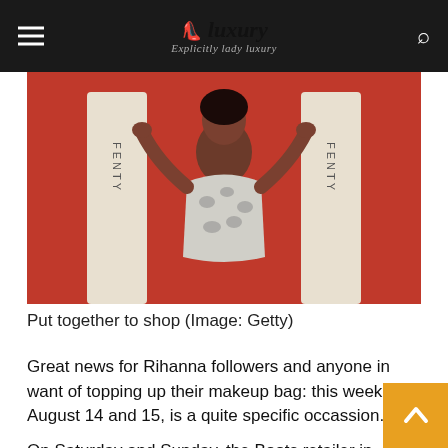Luxury Explicitly Lady Luxury
[Figure (photo): Woman wearing a silver snake-print strapless dress, posing with arms raised against an orange background with large FENTY product displays on either side]
Put together to shop (Image: Getty)
Great news for Rihanna followers and anyone in want of topping up their makeup bag: this weekend, August 14 and 15, is a quite specific occassion.
On Saturday and Sunday, the Boots retailer in Westfield Stratford, London, will be taken over Fenty Beauty and Fenty Pores and skin, for a ra main elegance extravaganza.